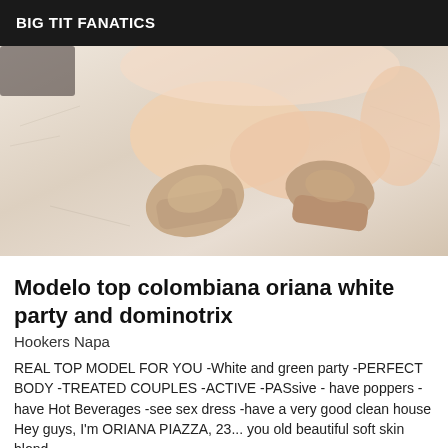BIG TIT FANATICS
[Figure (photo): Photo of woman's legs and high-heel shoes on a bed with printed sheets]
Modelo top colombiana oriana white party and dominotrix
Hookers Napa
REAL TOP MODEL FOR YOU -White and green party -PERFECT BODY -TREATED COUPLES -ACTIVE -PASsive - have poppers - have Hot Beverages -see sex dress -have a very good clean house Hey guys, I'm ORIANA PIAZZA, 23...